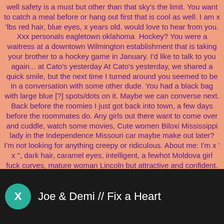well safety is a must but other than that sky's the limit. You want to catch a meal before or hang out first that is cool as well. I am x 'lbs red hair, blue eyes, x years old. would love to hear from you. Xxx personals eagletown oklahoma  Hockey? You were a waitress at a downtown Wilmington establishment that is taking your brother to a hockey game in January. I'd like to talk to you again... at Cato's yesterday At Cato's yesterday, we shared a quick smile, but the next time I turned around you seemed to be in a conversation with some other dude. You had a black bag with large blue [?] spots/dots on it. Maybe we can converse next. Back before the roomies I just got back into town, a few days before the roommates do. Any girls out there want to come over and cuddle, watch some movies, Cute women Biloxi Mississippi lady in the Independence Missouri car maybe make out later? I'm not looking for anything creepy or ridiculous. About me: I'm x ' x ", dark hair, caramel eyes, intelligent, a fewhot Moldova girl fuck curves, mature woman Lincoln but attractive and confident. Shoot me a reply if you're interested in something like that. bbw sex owings mills In need of hotties to go down on.
[Figure (screenshot): Media player bar with teal circle icon showing X, and text 'Joe & Demi // Fix a Heart' on dark background with blurred photo]